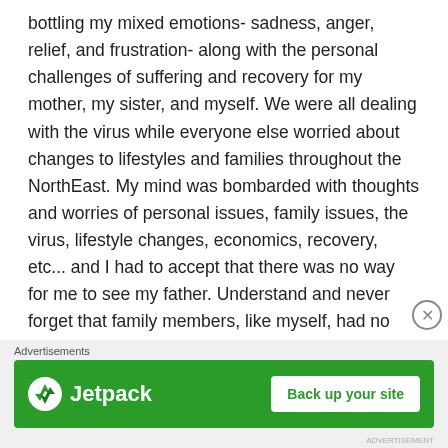bottling my mixed emotions- sadness, anger, relief, and frustration- along with the personal challenges of suffering and recovery for my mother, my sister, and myself. We were all dealing with the virus while everyone else worried about changes to lifestyles and families throughout the NorthEast. My mind was bombarded with thoughts and worries of personal issues, family issues, the virus, lifestyle changes, economics, recovery, etc... and I had to accept that there was no way for me to see my father. Understand and never forget that family members, like myself, had no options to see their struggling family members!

Part of the unprecedented changes in society were rules preventing anyone from visiting patients in the hospital which included my father. While I knew that one of the
[Figure (other): Jetpack advertisement banner with green background, Jetpack logo on left and 'Back up your site' button on right, with 'Advertisements' label above and a close (X) button to the right.]